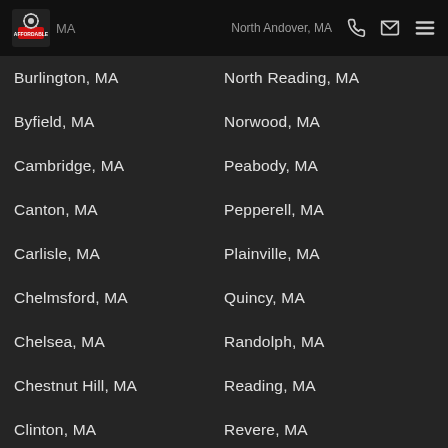Affordable Companies, MA — North Andover, MA
Burlington, MA
North Reading, MA
Byfield, MA
Norwood, MA
Cambridge, MA
Peabody, MA
Canton, MA
Pepperell, MA
Carlisle, MA
Plainville, MA
Chelmsford, MA
Quincy, MA
Chelsea, MA
Randolph, MA
Chestnut Hill, MA
Reading, MA
Clinton, MA
Revere, MA
Cohasset, MA
Rockport, MA